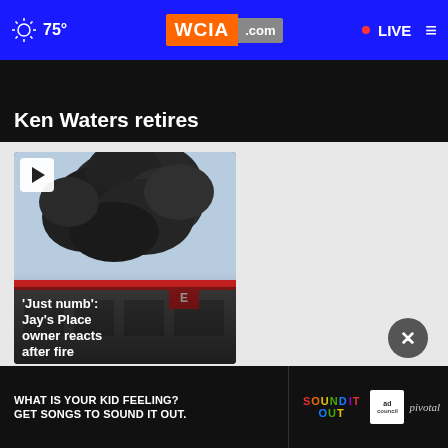75° WCIA.com • LIVE
Ken Waters retires
[Figure (photo): Fire with large black smoke plume rising above a commercial building with red trim, video thumbnail with play button overlay]
'Just numb': Jay's Place owner reacts after fire
[Figure (photo): Advertisement banner: WHAT IS YOUR KID FEELING? GET SONGS TO SOUND IT OUT. Sound It Out, Ad Council, pivotal]
WHAT IS YOUR KID FEELING? GET SONGS TO SOUND IT OUT. Sound It Out ad council pivotal